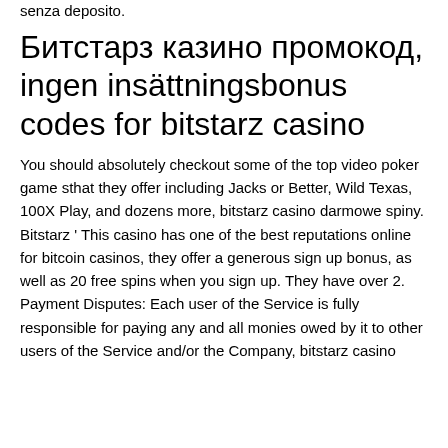senza deposito.
Битстарз казино промокод, ingen insättningsbonus codes for bitstarz casino
You should absolutely checkout some of the top video poker game sthat they offer including Jacks or Better, Wild Texas, 100X Play, and dozens more, bitstarz casino darmowe spiny. Bitstarz ' This casino has one of the best reputations online for bitcoin casinos, they offer a generous sign up bonus, as well as 20 free spins when you sign up. They have over 2. Payment Disputes: Each user of the Service is fully responsible for paying any and all monies owed by it to other users of the Service and/or the Company, bitstarz casino